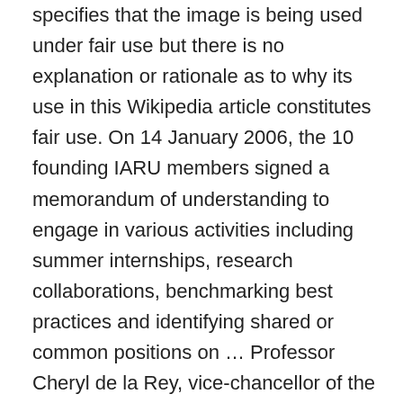specifies that the image is being used under fair use but there is no explanation or rationale as to why its use in this Wikipedia article constitutes fair use. On 14 January 2006, the 10 founding IARU members signed a memorandum of understanding to engage in various activities including summer internships, research collaborations, benchmarking best practices and identifying shared or common positions on … Professor Cheryl de la Rey, vice-chancellor of the University of Pretoria, will lead the work of identifying the first major research programme, working with the top research executives of alliance universities. International Alliance of Research Universities (IARU) er et samarbejdsnetværk mellem 11 af de bedste universiteter i verden, der deler værdier og visioner om forskning og videregående uddannelse, herunder uddannelse af fremtidige ledere og internationalt samarbejde. The